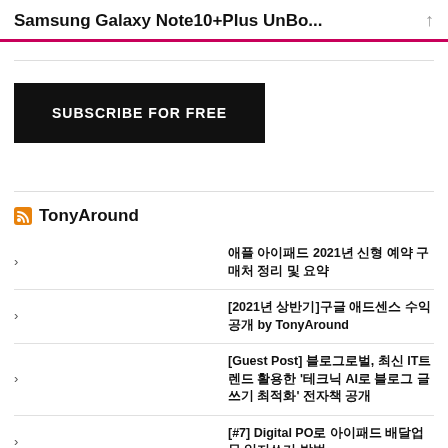Samsung Galaxy Note10+Plus UnBo...
[Figure (other): Subscribe for free button - black rectangle with white uppercase text]
TonyAround
애플 아이패드 2021년 신형 예약 구매처 정리 및 요약
[2021년 상반기]구글 애드센스 수익 공개 by TonyAround
[Guest Post] 블로그로벌, 최신 IT트렌드 활용한 '테크닉 AI로 블로그 글쓰기 최적화' 전자책 공개
[#7] Digital PO로 아이패드 배달업무 일지쓰기 방법
[2021년 04월]블로그 방문자 수익 공개 by TonyAround